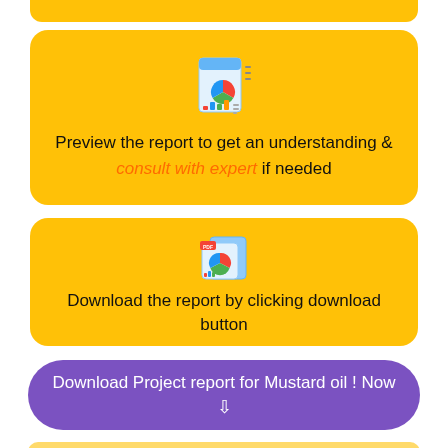[Figure (illustration): Yellow card with a report/chart document icon at top, partially visible at top of page]
Preview the report to get an understanding & consult with expert if needed
[Figure (illustration): Yellow card with a PDF report download icon]
Download the report by clicking download button
Download Project report for Mustard oil ! Now
[Figure (illustration): Partially visible yellow card at bottom of page]